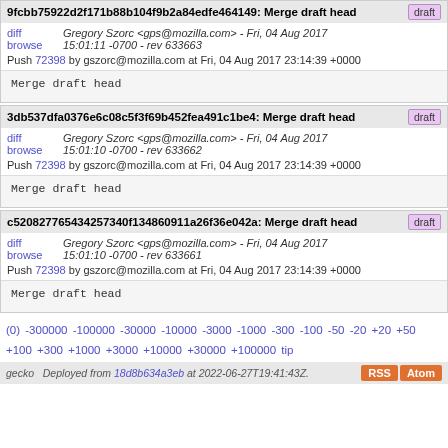9fcbb75922d2f171b88b104f9b2a84edfe464149: Merge draft head [draft]
diff browse   Gregory Szorc <gps@mozilla.com> - Fri, 04 Aug 2017 15:01:11 -0700 - rev 633663
Push 72398 by gszorc@mozilla.com at Fri, 04 Aug 2017 23:14:39 +0000
Merge draft head
3db537dfa0376e6c08c5f3f69b452fea491c1be4: Merge draft head [draft]
diff browse   Gregory Szorc <gps@mozilla.com> - Fri, 04 Aug 2017 15:01:10 -0700 - rev 633662
Push 72398 by gszorc@mozilla.com at Fri, 04 Aug 2017 23:14:39 +0000
Merge draft head
c520827765434257340f134860911a26f36e042a: Merge draft head [draft]
diff browse   Gregory Szorc <gps@mozilla.com> - Fri, 04 Aug 2017 15:01:10 -0700 - rev 633661
Push 72398 by gszorc@mozilla.com at Fri, 04 Aug 2017 23:14:39 +0000
Merge draft head
(0) -300000 -100000 -30000 -10000 -3000 -1000 -300 -100 -50 -20 +20 +50 +100 +300 +1000 +3000 +10000 +30000 +100000 tip
gecko  Deployed from 18d8b634a3eb at 2022-06-27T19:41:43Z.   RSS  Atom